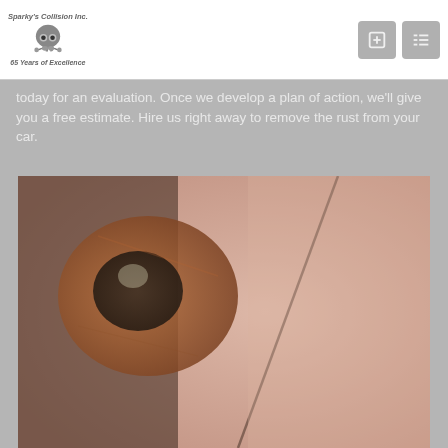Sparky's Collision Inc. 65 Years of Excellence
today for an evaluation. Once we develop a plan of action, we’ll give you a free estimate. Hire us right away to remove the rust from your car.
[Figure (photo): Close-up photograph of rust damage on a car body, showing a rusted area near a window seal or trim line with reddish-brown corrosion visible on the car surface.]